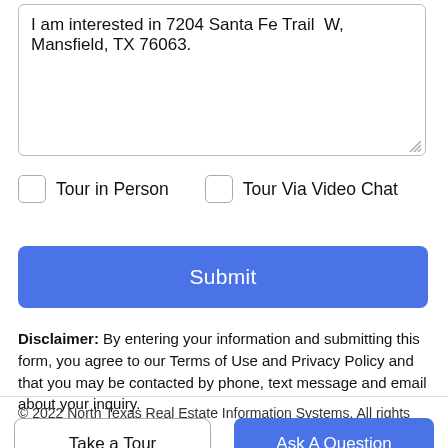I am interested in 7204 Santa Fe Trail  W, Mansfield, TX 76063.
Tour in Person
Tour Via Video Chat
Submit
Disclaimer: By entering your information and submitting this form, you agree to our Terms of Use and Privacy Policy and that you may be contacted by phone, text message and email about your inquiry.
© 2022 North Texas Real Estate Information Systems. All rights
Take a Tour
Ask A Question